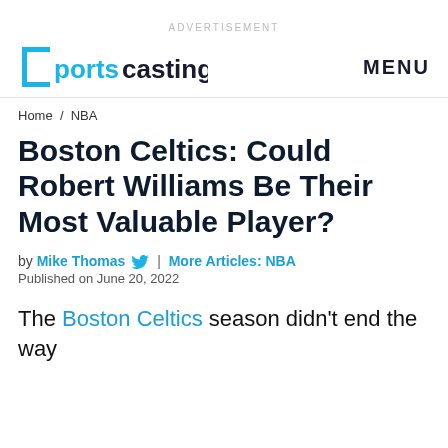ADVERTISEMENT
Sportscasting | MENU
Home / NBA
Boston Celtics: Could Robert Williams Be Their Most Valuable Player?
by Mike Thomas | More Articles: NBA
Published on June 20, 2022
The Boston Celtics season didn't end the way